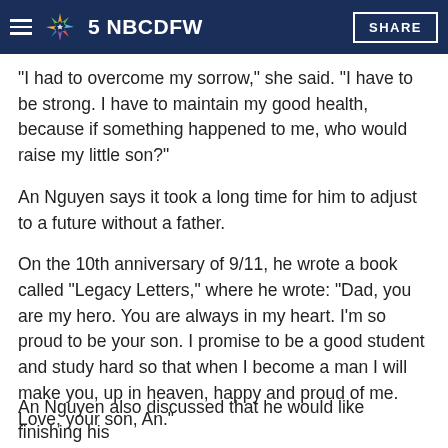strong for her son. NBC5 NBCDFW SHARE
"I had to overcome my sorrow," she said. "I have to be strong. I have to maintain my good health, because if something happened to me, who would raise my little son?"
An Nguyen says it took a long time for him to adjust to a future without a father.
On the 10th anniversary of 9/11, he wrote a book called "Legacy Letters," where he wrote: "Dad, you are my hero. You are always in my heart. I'm so proud to be your son. I promise to be a good student and study hard so that when I become a man I will make you, up in heaven, happy and proud of me. Love, your son, An."
An Nguyen also discussed that he would like finishing his